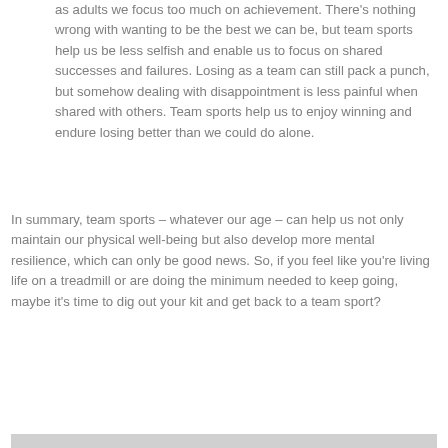as adults we focus too much on achievement. There's nothing wrong with wanting to be the best we can be, but team sports help us be less selfish and enable us to focus on shared successes and failures. Losing as a team can still pack a punch, but somehow dealing with disappointment is less painful when shared with others. Team sports help us to enjoy winning and endure losing better than we could do alone.
In summary, team sports – whatever our age – can help us not only maintain our physical well-being but also develop more mental resilience, which can only be good news. So, if you feel like you're living life on a treadmill or are doing the minimum needed to keep going, maybe it's time to dig out your kit and get back to a team sport?